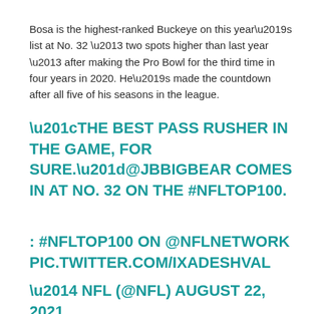Bosa is the highest-ranked Buckeye on this year’s list at No. 32 – two spots higher than last year – after making the Pro Bowl for the third time in four years in 2020. He’s made the countdown after all five of his seasons in the league.
“THE BEST PASS RUSHER IN THE GAME, FOR SURE.”@JBBIGBEAR COMES IN AT NO. 32 ON THE #NFLTOP100.
: #NFLTOP100 ON @NFLNETWORK PIC.TWITTER.COM/IXADESHVAL
— NFL (@NFL) AUGUST 22, 2021